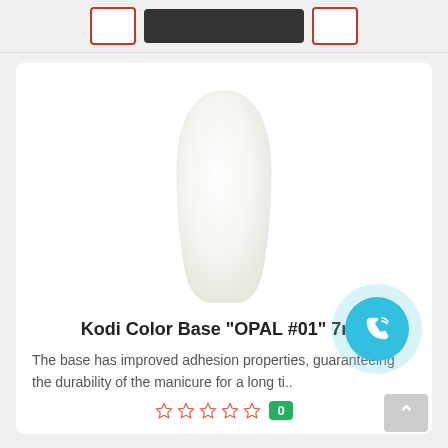[Figure (other): Top bar with minus button, add to cart button (dark), and plus button]
[Figure (photo): Nail swatch in white/opal color, oval/almond nail shape on white background]
Kodi Color Base "OPAL #01" 7ml.
The base has improved adhesion properties, guaranteeing the durability of the manicure for a long ti..
[Figure (other): 5 empty red star rating icons followed by green badge showing 0 reviews]